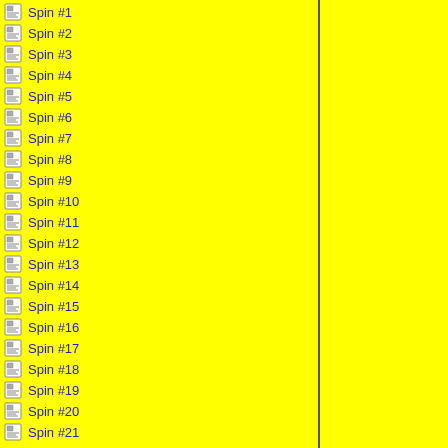Spin #1
Spin #2
Spin #3
Spin #4
Spin #5
Spin #6
Spin #7
Spin #8
Spin #9
Spin #10
Spin #11
Spin #12
Spin #13
Spin #14
Spin #15
Spin #16
Spin #17
Spin #18
Spin #19
Spin #20
Spin #21